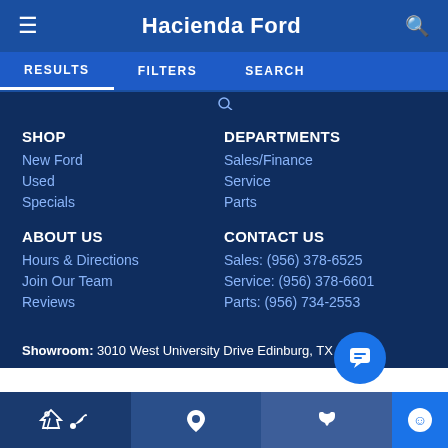Hacienda Ford
RESULTS   FILTERS   SEARCH
SHOP
New Ford
Used
Specials
DEPARTMENTS
Sales/Finance
Service
Parts
ABOUT US
Hours & Directions
Join Our Team
Reviews
CONTACT US
Sales: (956) 378-6525
Service: (956) 378-6601
Parts: (956) 734-2553
Showroom: 3010 West University Drive Edinburg, TX 78539